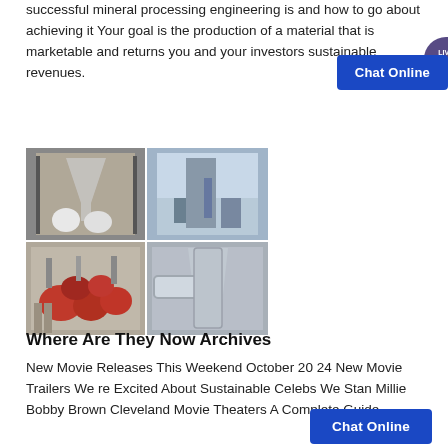successful mineral processing engineering is and how to go about achieving it Your goal is the production of a material that is marketable and returns you and your investors sustainable revenues.
[Figure (photo): A 2x2 grid of industrial mineral processing equipment photos: top-left shows a hopper/funnel device, top-right shows a large industrial processing tower outdoors, bottom-left shows red-colored mechanical equipment/pump assembly, bottom-right shows large industrial pipe/cyclone assembly.]
Where Are They Now Archives
New Movie Releases This Weekend October 20 24 New Movie Trailers We re Excited About Sustainable Celebs We Stan Millie Bobby Brown Cleveland Movie Theaters A Complete Guide.